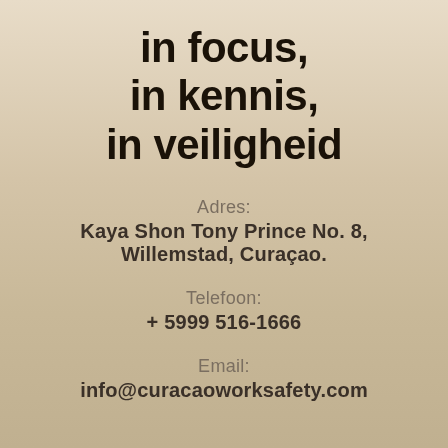in focus, in kennis, in veiligheid
Adres: Kaya Shon Tony Prince No. 8, Willemstad, Curaçao.
Telefoon: + 5999 516-1666
Email: info@curacaoworksafety.com